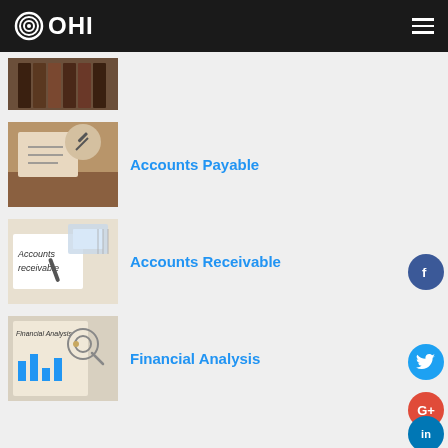OHI
[Figure (photo): Partial thumbnail of books or folders on a shelf, cropped at top of content area]
[Figure (photo): Person writing/working at a desk with papers and laptop — Accounts Payable thumbnail]
Accounts Payable
[Figure (photo): Notepad with 'accounts receivable' written on it, calculator in background — Accounts Receivable thumbnail]
Accounts Receivable
[Figure (photo): Financial analysis document with magnifying glass and bar charts — Financial Analysis thumbnail]
Financial Analysis